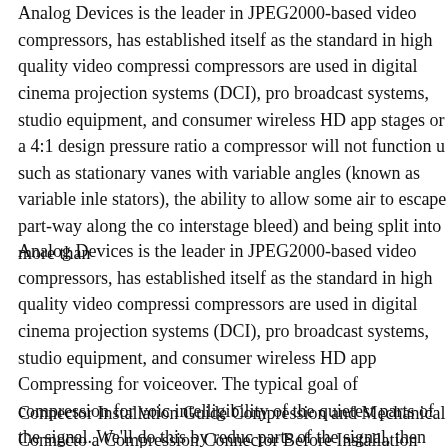Analog Devices is the leader in JPEG2000-based video compressors, has established itself as the standard in high quality video compression. compressors are used in digital cinema projection systems (DCI), pro broadcast systems, studio equipment, and consumer wireless HD app stages or a 4:1 design pressure ratio a compressor will not function u such as stationary vanes with variable angles (known as variable inle stators), the ability to allow some air to escape part-way along the co interstage bleed) and being split into more than
Analog Devices is the leader in JPEG2000-based video compressors, has established itself as the standard in high quality video compression. compressors are used in digital cinema projection systems (DCI), pro broadcast systems, studio equipment, and consumer wireless HD app Compressing for voiceover. The typical goal of compression for voic intelligibility of the quietest parts of the signal. We'll do this by redu parts of the signal, then increasing the level of the whole signal by th in the loudest parts. Here's a typical workflow:
Connector Installation Guide Compression and Mechanical Connect a Compression Connector Before Installation Before compression,